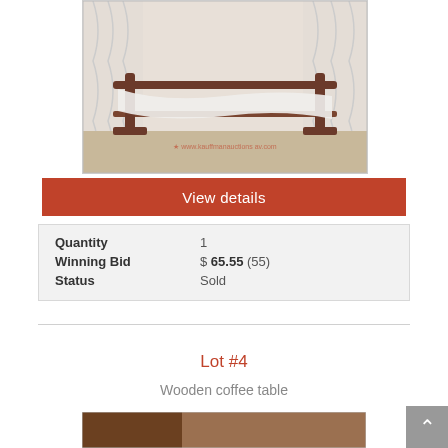[Figure (photo): Photo of a wooden quilt rack/frame with white fabric draped over it, set against floral curtains background. Watermark text: www.kauffmanauctions av.com]
View details
| Quantity | 1 |
| Winning Bid | $ 65.55 (55) |
| Status | Sold |
Lot #4
Wooden coffee table
[Figure (photo): Partial photo of a wooden coffee table, cropped at bottom of page]